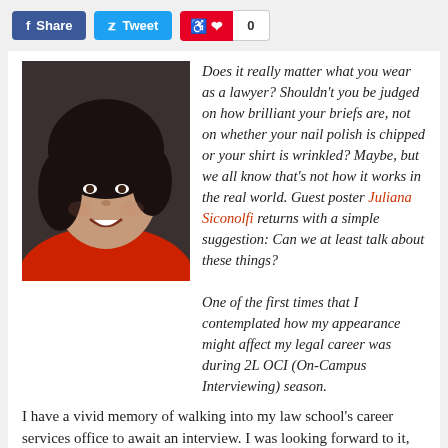[Figure (other): Social media share buttons: Facebook Share, Twitter Tweet, Pinterest with count 0]
[Figure (photo): Headshot of a young woman with dark curly hair, smiling, wearing a red top, against a dark background]
Does it really matter what you wear as a lawyer? Shouldn't you be judged on how brilliant your briefs are, not on whether your nail polish is chipped or your shirt is wrinkled? Maybe, but we all know that's not how it works in the real world. Guest poster Juliana Siconolfi returns with a simple suggestion: Can we at least talk about these things?
One of the first times that I contemplated how my appearance might affect my legal career was during 2L OCI (On-Campus Interviewing) season.
I have a vivid memory of walking into my law school's career services office to await an interview. I was looking forward to it, despite feeling a bit anxious. As I made my way toward the waiting room (a.k.a. the hallway), I saw a few other female law students who were already waiting. Soon we became immersed in a conversation about our